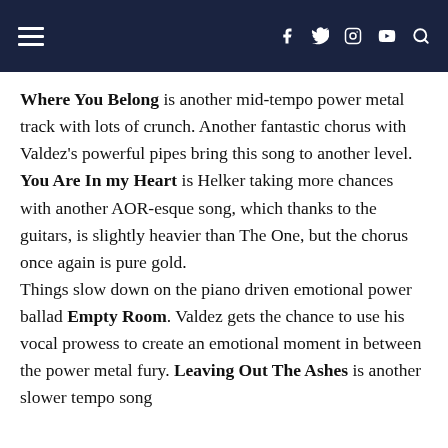navigation header with hamburger menu and social icons
Where You Belong is another mid-tempo power metal track with lots of crunch. Another fantastic chorus with Valdez's powerful pipes bring this song to another level. You Are In my Heart is Helker taking more chances with another AOR-esque song, which thanks to the guitars, is slightly heavier than The One, but the chorus once again is pure gold.
Things slow down on the piano driven emotional power ballad Empty Room. Valdez gets the chance to use his vocal prowess to create an emotional moment in between the power metal fury. Leaving Out The Ashes is another slower tempo song